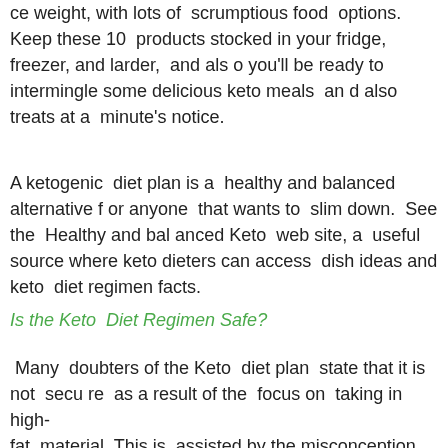ce weight, with lots of scrumptious food options. Keep these 10 products stocked in your fridge, freezer, and larder, and also you'll be ready to intermingle some delicious keto meals and also treats at a minute's notice.
A ketogenic diet plan is a healthy and balanced alternative for anyone that wants to slim down. See the Healthy and balanced Keto web site, a useful source where keto dieters can access dish ideas and keto diet regimen facts.
Is the Keto Diet Regimen Safe?
Many doubters of the Keto diet plan state that it is not secure as a result of the focus on taking in high-fat material. This is assisted by the misconception that fats are bad for you. As a matter of fact, healthy fats are in fact e